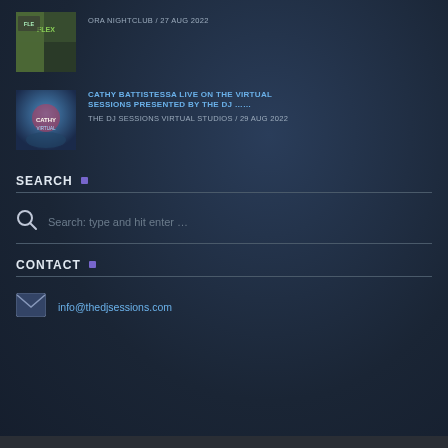ORA NIGHTCLUB / 27 AUG 2022
CATHY BATTISTESSA LIVE ON THE VIRTUAL SESSIONS PRESENTED BY THE DJ …… THE DJ SESSIONS VIRTUAL STUDIOS / 29 AUG 2022
SEARCH .
Search: type and hit enter …
CONTACT .
info@thedjsessions.com